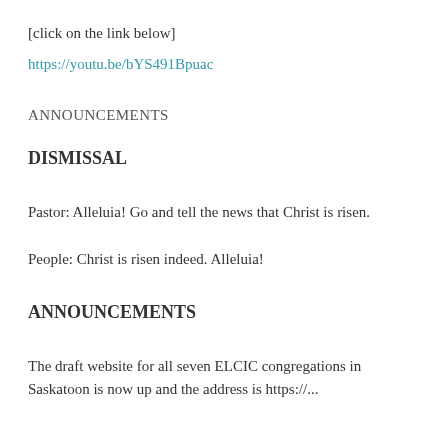[click on the link below]
https://youtu.be/bYS491Bpuac
ANNOUNCEMENTS
DISMISSAL
Pastor: Alleluia! Go and tell the news that Christ is risen.
People: Christ is risen indeed. Alleluia!
ANNOUNCEMENTS
The draft website for all seven ELCIC congregations in Saskatoon is now up and the address is https://...